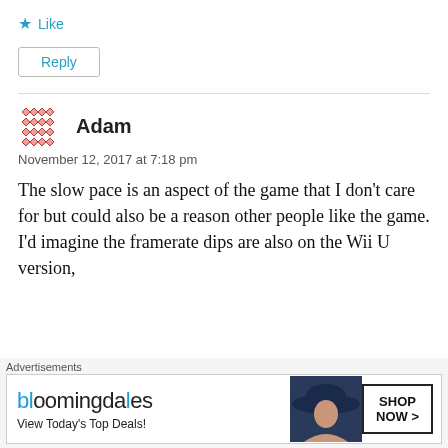★ Like
Reply
Adam
November 12, 2017 at 7:18 pm
The slow pace is an aspect of the game that I don't care for but could also be a reason other people like the game. I'd imagine the framerate dips are also on the Wii U version,
Advertisements
[Figure (screenshot): Bloomingdale's advertisement banner: 'bloomingdales View Today's Top Deals! SHOP NOW >']